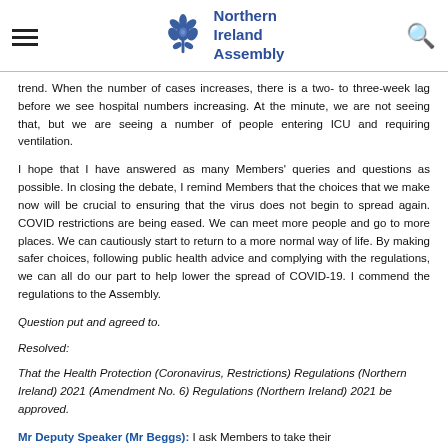Northern Ireland Assembly
trend. When the number of cases increases, there is a two- to three-week lag before we see hospital numbers increasing. At the minute, we are not seeing that, but we are seeing a number of people entering ICU and requiring ventilation.
I hope that I have answered as many Members' queries and questions as possible. In closing the debate, I remind Members that the choices that we make now will be crucial to ensuring that the virus does not begin to spread again. COVID restrictions are being eased. We can meet more people and go to more places. We can cautiously start to return to a more normal way of life. By making safer choices, following public health advice and complying with the regulations, we can all do our part to help lower the spread of COVID-19. I commend the regulations to the Assembly.
Question put and agreed to.
Resolved:
That the Health Protection (Coronavirus, Restrictions) Regulations (Northern Ireland) 2021 (Amendment No. 6) Regulations (Northern Ireland) 2021 be approved.
Mr Deputy Speaker (Mr Beggs): I ask Members to take their